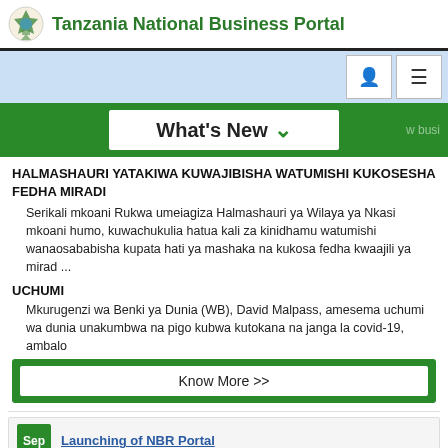Tanzania National Business Portal
[Figure (screenshot): Navigation bar with light blue background, user icon button and hamburger menu button]
[Figure (screenshot): Green banner with 'What's New' label and chevron/dropdown arrow]
HALMASHAURI YATAKIWA KUWAJIBISHA WATUMISHI KUKOSESHA FEDHA MIRADI
Serikali mkoani Rukwa umeiagiza Halmashauri ya Wilaya ya Nkasi mkoani humo, kuwachukulia hatua kali za kinidhamu watumishi wanaosababisha kupata hati ya mashaka na kukosa fedha kwaajili ya mirad ...
UCHUMI
Mkurugenzi wa Benki ya Dunia (WB), David Malpass, amesema uchumi wa dunia unakumbwa na pigo kubwa kutokana na janga la covid-19, ambalo
Know More >>
Launching of NBR Portal